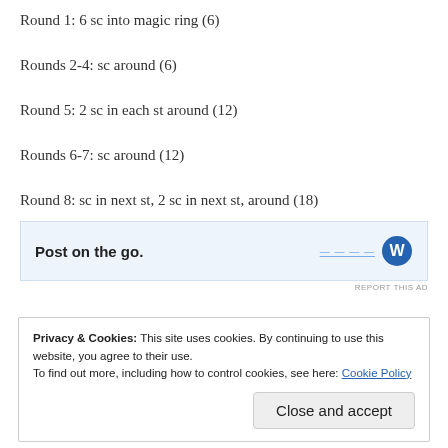Round 1: 6 sc into magic ring (6)
Rounds 2-4: sc around (6)
Round 5: 2 sc in each st around (12)
Rounds 6-7: sc around (12)
Round 8: sc in next st, 2 sc in next st, around (18)
[Figure (other): Advertisement banner with text 'Post on the go.' and a blue logo icon]
REPORT THIS AD
Privacy & Cookies: This site uses cookies. By continuing to use this website, you agree to their use.
To find out more, including how to control cookies, see here: Cookie Policy
Close and accept